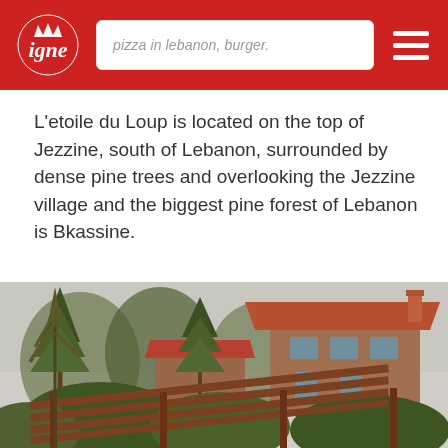pizza in lebanon, burger.
L'etoile du Loup is located on the top of Jezzine, south of Lebanon, surrounded by dense pine trees and overlooking the Jezzine village and the biggest pine forest of Lebanon is Bkassine.
[Figure (photo): Exterior view of a stone building with a red tiled roof surrounded by pine trees and green vegetation, with a wooden pergola structure in the foreground. The setting appears to be on a hillside in Lebanon.]